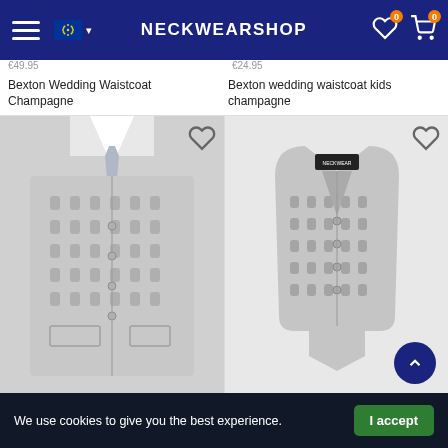NECKWEARSHOP
Bexton Wedding Waistcoat Champagne
Bexton wedding waistcoat kids champagne
[Figure (photo): Adult male wearing a silver/champagne patterned brocade waistcoat with matching tie and white shirt]
[Figure (photo): Child-sized silver/champagne patterned brocade waistcoat laid flat, showing front with buttons and label]
We use cookies to give you the best experience.
I accept